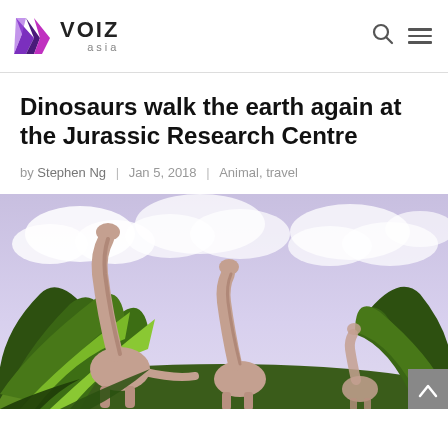VOIZ asia — navigation header with logo, search and menu icons
Dinosaurs walk the earth again at the Jurassic Research Centre
by Stephen Ng | Jan 5, 2018 | Animal, travel
[Figure (photo): Large photo showing dinosaur statues (brachiosaurus-type) with long necks against a cloudy blue-purple sky, with tropical green palm foliage in the foreground.]